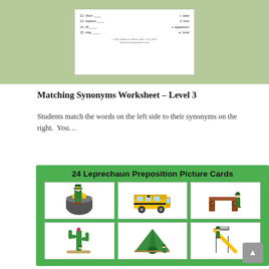[Figure (illustration): Worksheet preview showing synonym matching rows on a light green background]
Matching Synonyms Worksheet – Level 3
Students match the words on the left side to their synonyms on the right.  You…
[Figure (illustration): 24 Leprechaun Preposition Picture Cards – green card with title and 6 picture cards showing leprechaun in various preposition scenes: in a pot of gold, on a bus, beside a desk, next to a cactus, near a tent, on a slide]